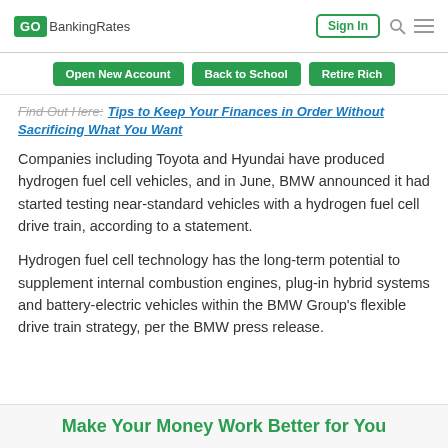GOBankingRates | Sign In
Open New Account | Back to School | Retire Rich
Find Out Here: Tips to Keep Your Finances in Order Without Sacrificing What You Want
Companies including Toyota and Hyundai have produced hydrogen fuel cell vehicles, and in June, BMW announced it had started testing near-standard vehicles with a hydrogen fuel cell drive train, according to a statement.
Hydrogen fuel cell technology has the long-term potential to supplement internal combustion engines, plug-in hybrid systems and battery-electric vehicles within the BMW Group's flexible drive train strategy, per the BMW press release.
Make Your Money Work Better for You